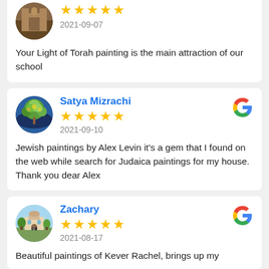[Figure (photo): Circular avatar of reviewer showing a painting of a building/synagogue]
★★★★★
2021-09-07
Your Light of Torah painting is the main attraction of our school
[Figure (photo): Circular avatar of reviewer showing a colorful tree painting (menorah/tree of life)]
Satya Mizrachi
[Figure (logo): Google G logo]
★★★★★
2021-09-10
Jewish paintings by Alex Levin it's a gem that I found on the web while search for Judaica paintings for my house. Thank you dear Alex
[Figure (photo): Circular avatar of reviewer showing a landscape painting with buildings]
Zachary
[Figure (logo): Google G logo]
★★★★★
2021-08-17
Beautiful paintings of Kever Rachel, brings up my